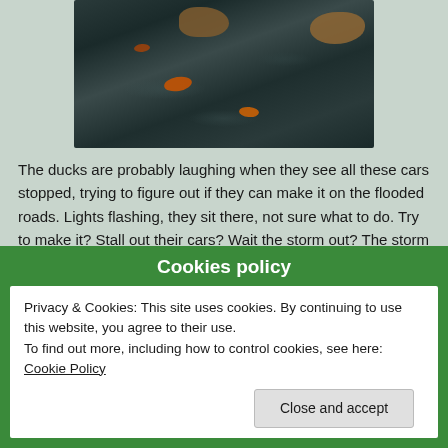[Figure (photo): Photograph of a dark pond/water surface with orange koi fish and ducks visible]
The ducks are probably laughing when they see all these cars stopped, trying to figure out if they can make it on the flooded roads. Lights flashing, they sit there, not sure what to do. Try to make it? Stall out their cars? Wait the storm out? The storm and the flood waters are not going away any time soon. Maybe tomorrow? But we have heavy rains through the weekend. Tow trucks have been out in numbers,
Cookies policy
Privacy & Cookies: This site uses cookies. By continuing to use this website, you agree to their use.
To find out more, including how to control cookies, see here: Cookie Policy